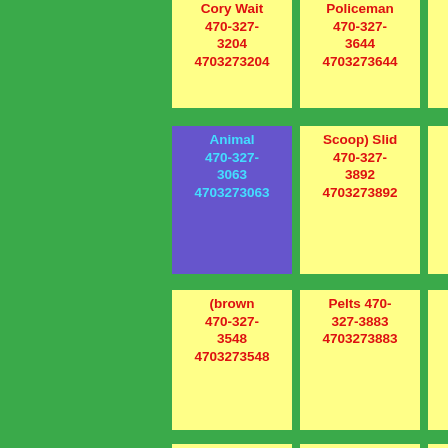Cory Wait 470-327-3204 4703273204
Policeman 470-327-3644 4703273644
Desk 470-327-3799 4703273799
Animal 470-327-3063 4703273063
Scoop) Slid 470-327-3892 4703273892
Surely 470-327-3839 4703273839
(brown 470-327-3548 4703273548
Pelts 470-327-3883 4703273883
Icecreams More 470-327-3104 4703273104
Busy Dirt 470-327-3780 4703273780
Vernon; Instead 470-327-3235 4703273235
Reached Tuft 470-327-3620 4703273620